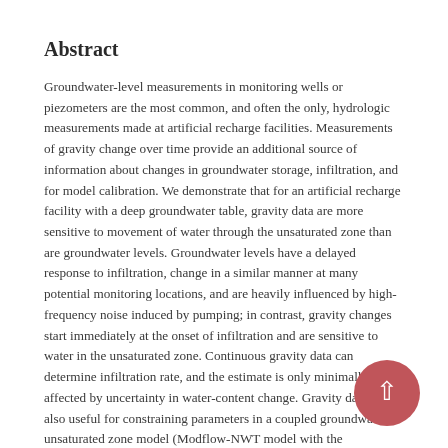Abstract
Groundwater-level measurements in monitoring wells or piezometers are the most common, and often the only, hydrologic measurements made at artificial recharge facilities. Measurements of gravity change over time provide an additional source of information about changes in groundwater storage, infiltration, and for model calibration. We demonstrate that for an artificial recharge facility with a deep groundwater table, gravity data are more sensitive to movement of water through the unsaturated zone than are groundwater levels. Groundwater levels have a delayed response to infiltration, change in a similar manner at many potential monitoring locations, and are heavily influenced by high-frequency noise induced by pumping; in contrast, gravity changes start immediately at the onset of infiltration and are sensitive to water in the unsaturated zone. Continuous gravity data can determine infiltration rate, and the estimate is only minimally affected by uncertainty in water-content change. Gravity data are also useful for constraining parameters in a coupled groundwater-unsaturated zone model (Modflow-NWT model with the Unsaturated Zone Flow (UZF)